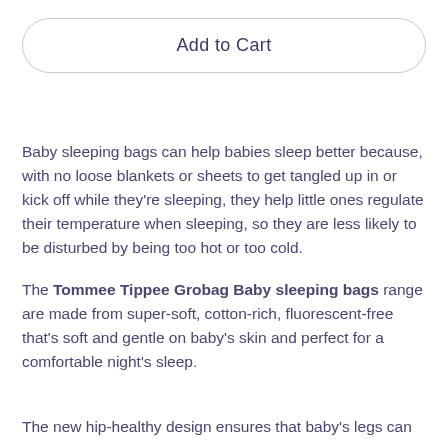Add to Cart
Baby sleeping bags can help babies sleep better because, with no loose blankets or sheets to get tangled up in or kick off while they're sleeping, they help little ones regulate their temperature when sleeping, so they are less likely to be disturbed by being too hot or too cold.
The Tommee Tippee Grobag Baby sleeping bags range are made from super-soft, cotton-rich, fluorescent-free that's soft and gentle on baby's skin and perfect for a comfortable night's sleep.
The new hip-healthy design ensures that baby's legs can